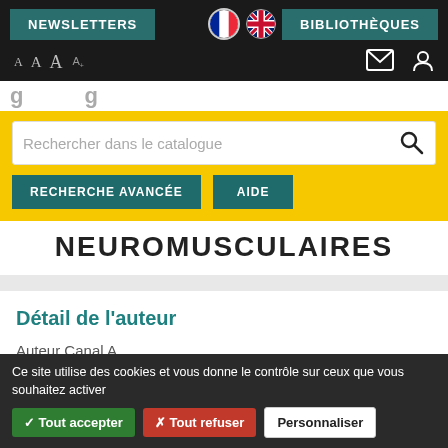NEWSLETTERS  BIBLIOTHÈQUES
[Figure (screenshot): Navigation bar with NEWSLETTERS and BIBLIOTHÈQUES buttons, French and UK flag icons]
[Figure (screenshot): Yellow search bar with input 'Rechercher dans le catalogue' and buttons RECHERCHE AVANCÉE and AIDE]
NEUROMUSCULAIRES
Détail de l'auteur
Auteur Canal A
Ce site utilise des cookies et vous donne le contrôle sur ceux que vous souhaitez activer
✓ Tout accepter
✗ Tout refuser
Personnaliser